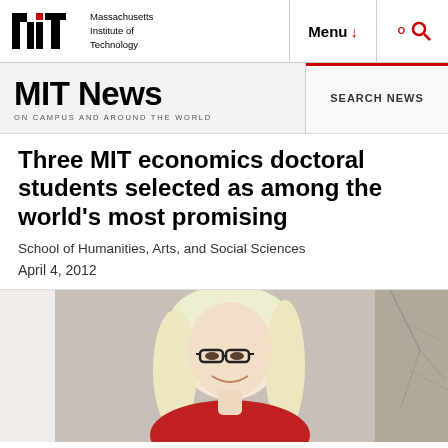Massachusetts Institute of Technology | Menu | Search
MIT News ON CAMPUS AND AROUND THE WORLD | SEARCH NEWS
Three MIT economics doctoral students selected as among the world's most promising
School of Humanities, Arts, and Social Sciences
April 4, 2012
[Figure (photo): Portrait photo of a blonde woman wearing glasses and a red top, standing outdoors near a concrete wall with tree branches.]